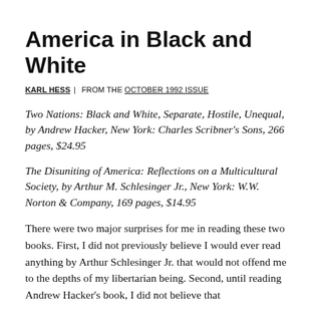America in Black and White
KARL HESS | FROM THE OCTOBER 1992 ISSUE
Two Nations: Black and White, Separate, Hostile, Unequal, by Andrew Hacker, New York: Charles Scribner's Sons, 266 pages, $24.95
The Disuniting of America: Reflections on a Multicultural Society, by Arthur M. Schlesinger Jr., New York: W.W. Norton & Company, 169 pages, $14.95
There were two major surprises for me in reading these two books. First, I did not previously believe I would ever read anything by Arthur Schlesinger Jr. that would not offend me to the depths of my libertarian being. Second, until reading Andrew Hacker's book, I did not believe that